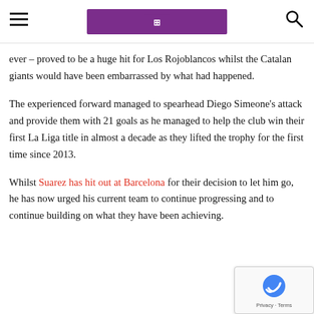[hamburger menu] [The Ball logo] [search icon]
ever – proved to be a huge hit for Los Rojoblancos whilst the Catalan giants would have been embarrassed by what had happened.
The experienced forward managed to spearhead Diego Simeone's attack and provide them with 21 goals as he managed to help the club win their first La Liga title in almost a decade as they lifted the trophy for the first time since 2013.
Whilst Suarez has hit out at Barcelona for their decision to let him go, he has now urged his current team to continue progressing and to continue building on what they have been achieving.